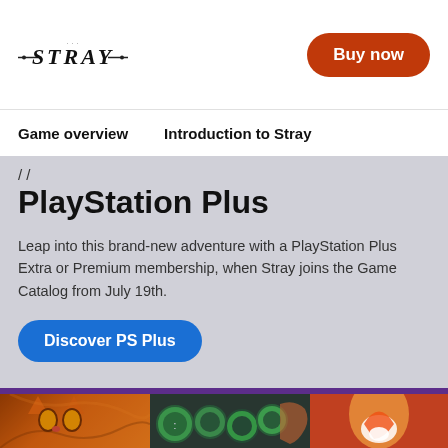[Figure (logo): Stray game logo in stylized dark lettering with decorative lines]
Buy now
Game overview
Introduction to Stray
PlayStation Plus
Leap into this brand-new adventure with a PlayStation Plus Extra or Premium membership, when Stray joins the Game Catalog from July 19th.
Discover PS Plus
[Figure (screenshot): Bottom strip showing three game thumbnails: a cat from Stray, TMNT characters, and another colorful game]